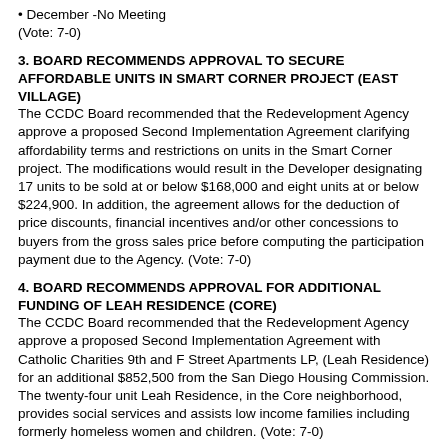• December -No Meeting
(Vote: 7-0)
3. BOARD RECOMMENDS APPROVAL TO SECURE AFFORDABLE UNITS IN SMART CORNER PROJECT (EAST VILLAGE)
The CCDC Board recommended that the Redevelopment Agency approve a proposed Second Implementation Agreement clarifying affordability terms and restrictions on units in the Smart Corner project. The modifications would result in the Developer designating 17 units to be sold at or below $168,000 and eight units at or below $224,900. In addition, the agreement allows for the deduction of price discounts, financial incentives and/or other concessions to buyers from the gross sales price before computing the participation payment due to the Agency. (Vote: 7-0)
4. BOARD RECOMMENDS APPROVAL FOR ADDITIONAL FUNDING OF LEAH RESIDENCE (CORE)
The CCDC Board recommended that the Redevelopment Agency approve a proposed Second Implementation Agreement with Catholic Charities 9th and F Street Apartments LP, (Leah Residence) for an additional $852,500 from the San Diego Housing Commission. The twenty-four unit Leah Residence, in the Core neighborhood, provides social services and assists low income families including formerly homeless women and children. (Vote: 7-0)
PROJECT UPDATES
• Park It on Market (North) – Park It On Market, containing 500 parking spaces, has been operating since January 2001. For the seven